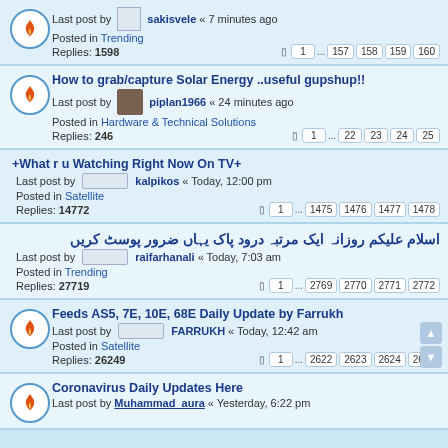Last post by sakisvele « 7 minutes ago
Posted in Trending
Replies: 1598  1 ... 157 158 159 160
How to grab/capture Solar Energy ..useful gupshup!!
Last post by piplan1966 « 24 minutes ago
Posted in Hardware & Technical Solutions
Replies: 246  1 ... 22 23 24 25
+What r u Watching Right Now On TV+
Last post by kalpikos « Today, 12:00 pm
Posted in Satellite
Replies: 14772  1 ... 1475 1476 1477 1478
اسلام علیکم روزانہ ایک مرتبہ درود پاک یہاں ضرور پوسٹ کریں
Last post by raifarhanali « Today, 7:03 am
Posted in Trending
Replies: 27719  1 ... 2769 2770 2771 2772
Feeds AS5, 7E, 10E, 68E Daily Update by Farrukh
Last post by FARRUKH « Today, 12:42 am
Posted in Satellite
Replies: 26249  1 ... 2622 2623 2624 2625
Coronavirus Daily Updates Here
Last post by Muhammad_aura « Yesterday, 6:22 pm